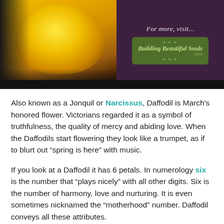[Figure (photo): Photo of a yellow daffodil flower on the left, with a dark purple/mauve right panel containing the text 'For more, visit...' and a 'Building Beautiful Souls .com' logo with decorative scroll/leaf design]
Also known as a Jonquil or Narcissus, Daffodil is March's honored flower. Victorians regarded it as a symbol of truthfulness, the quality of mercy and abiding love. When the Daffodils start flowering they look like a trumpet, as if to blurt out "spring is here" with music.
If you look at a Daffodil it has 6 petals. In numerology six is the number that "plays nicely" with all other digits. Six is the number of harmony, love and nurturing. It is even sometimes nicknamed the "motherhood" number. Daffodil conveys all these attributes.